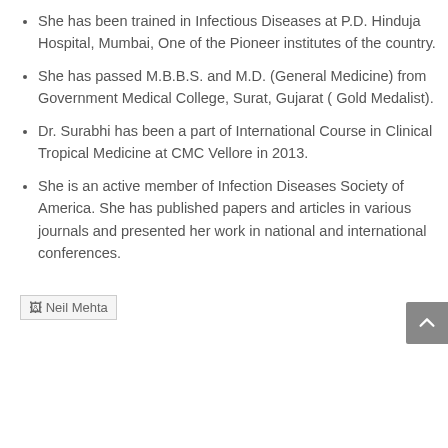She has been trained in Infectious Diseases at P.D. Hinduja Hospital, Mumbai, One of the Pioneer institutes of the country.
She has passed M.B.B.S. and M.D. (General Medicine) from Government Medical College, Surat, Gujarat ( Gold Medalist).
Dr. Surabhi has been a part of International Course in Clinical Tropical Medicine at CMC Vellore in 2013.
She is an active member of Infection Diseases Society of America. She has published papers and articles in various journals and presented her work in national and international conferences.
[Figure (photo): Neil Mehta - broken/missing image placeholder]